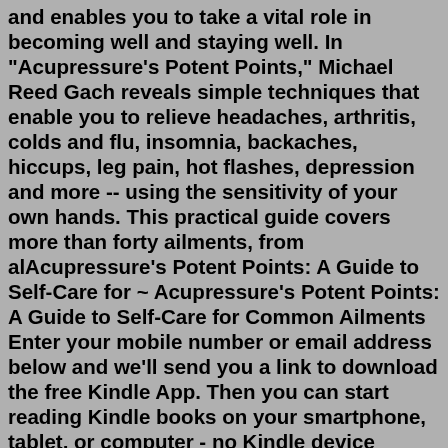and enables you to take a vital role in becoming well and staying well. In "Acupressure's Potent Points," Michael Reed Gach reveals simple techniques that enable you to relieve headaches, arthritis, colds and flu, insomnia, backaches, hiccups, leg pain, hot flashes, depression and more -- using the sensitivity of your own hands. This practical guide covers more than forty ailments, from alAcupressure's Potent Points: A Guide to Self-Care for ~ Acupressure's Potent Points: A Guide to Self-Care for Common Ailments Enter your mobile number or email address below and we'll send you a link to download the free Kindle App. Then you can start reading Kindle books on your smartphone, tablet, or computer - no Kindle device required.Acupressure's Potent Points: A Guide to Self-Care for Common Ailments : Gach PhD, Michael Reed: Amazon.de: Books Listen to discovery playlists featuring ⚡read [pdf] Acupressure's Potent Points: A Guide to Self-Care for Common Ailments by Michael Reed Ga by Teana Mehnec on desktop